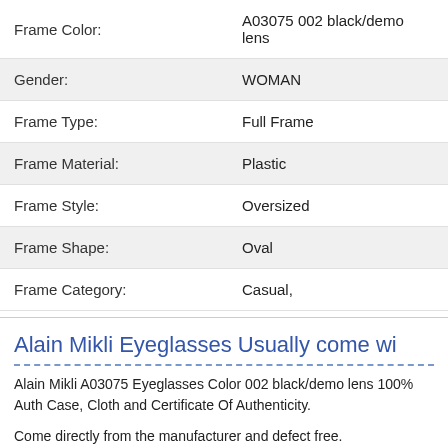| Frame Color: | A03075 002 black/demo lens |
| Gender: | WOMAN |
| Frame Type: | Full Frame |
| Frame Material: | Plastic |
| Frame Style: | Oversized |
| Frame Shape: | Oval |
| Frame Category: | Casual, |
Alain Mikli Eyeglasses Usually come wi
Alain Mikli A03075 Eyeglasses Color 002 black/demo lens 100% Auth Case, Cloth and Certificate Of Authenticity.
Come directly from the manufacturer and defect free.